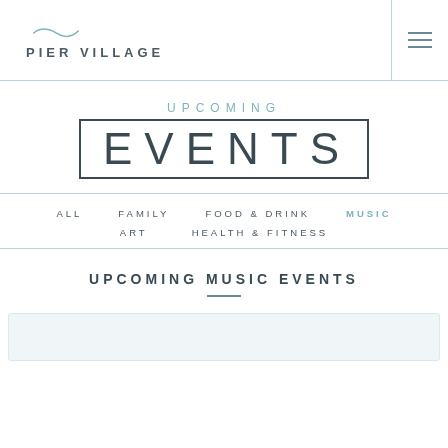PIER VILLAGE
UPCOMING EVENTS
ALL  FAMILY  FOOD & DRINK  MUSIC  ART  HEALTH & FITNESS
UPCOMING MUSIC EVENTS